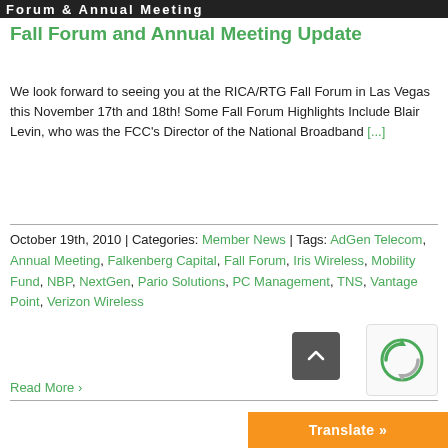[Figure (photo): Dark banner/header bar with white text and logo at the top of the page]
Fall Forum and Annual Meeting Update
We look forward to seeing you at the RICA/RTG Fall Forum in Las Vegas this November 17th and 18th! Some Fall Forum Highlights Include Blair Levin, who was the FCC's Director of the National Broadband [...]
October 19th, 2010 | Categories: Member News | Tags: AdGen Telecom, Annual Meeting, Falkenberg Capital, Fall Forum, Iris Wireless, Mobility Fund, NBP, NextGen, Pario Solutions, PC Management, TNS, Vantage Point, Verizon Wireless
Read More >